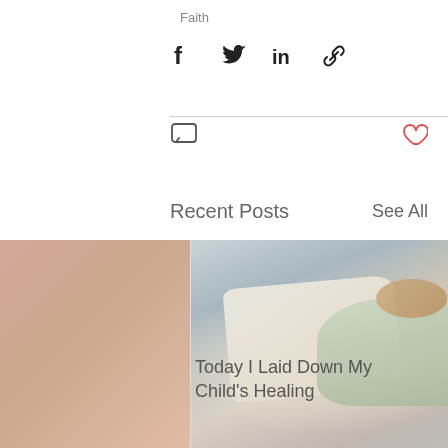Faith
[Figure (infographic): Social share icons: Facebook, Twitter, LinkedIn, Link]
[Figure (infographic): Comment icon on left, heart/like icon on right]
Recent Posts
See All
[Figure (photo): A child lying in a hospital bed wearing a patterned gown, with a pillow, on light blue/grey sheets]
Today I Laid Down My Child's Healing